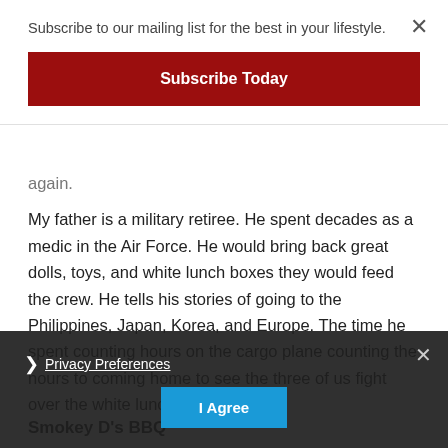Subscribe to our mailing list for the best in your lifestyle.
Subscribe Today
again.
My father is a military retiree. He spent decades as a medic in the Air Force. He would bring back great dolls, toys, and white lunch boxes they would feed the crew. He tells his stories of going to the Philippines, Japan, Korea, and Europe. The time he spent counting hours on the cargo plane counting the hours to coming home to see the three of us fight over the white lunch box.
Smokey D's BBQ
Privacy Preferences
I Agree